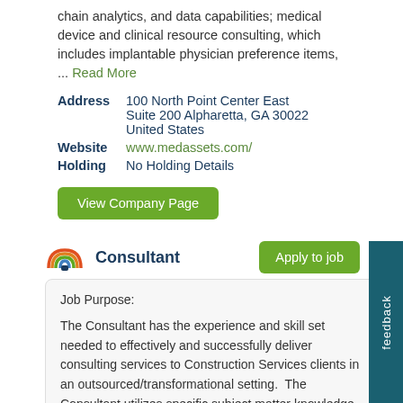chain analytics, and data capabilities; medical device and clinical resource consulting, which includes implantable physician preference items, ... Read More
| Field | Value |
| --- | --- |
| Address | 100 North Point Center East Suite 200 Alpharetta, GA 30022 United States |
| Website | www.medassets.com/ |
| Holding | No Holding Details |
View Company Page
Apply to job
Consultant
Job Purpose:
The Consultant has the experience and skill set needed to effectively and successfully deliver consulting services to Construction Services clients in an outsourced/transformational setting.  The Consultant utilizes specific subject matter knowledge, finely tuned project management and customer relations skills to